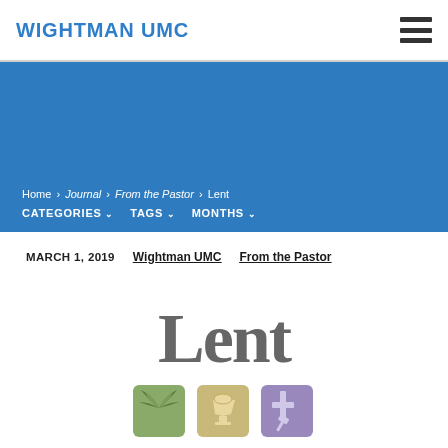WIGHTMAN UMC
[Figure (illustration): Blue banner header background for Wightman UMC journal/blog page]
Home › Journal › From the Pastor › Lent
CATEGORIES ∨   TAGS ∨   MONTHS ∨
MARCH 1, 2019   Wightman UMC   From the Pastor
[Figure (illustration): Lent graphic showing the word 'Lent' in large grey letters above three illustrated panels depicting palm fronds, a chalice with bread, and a cross/hammer — symbols of Lent]